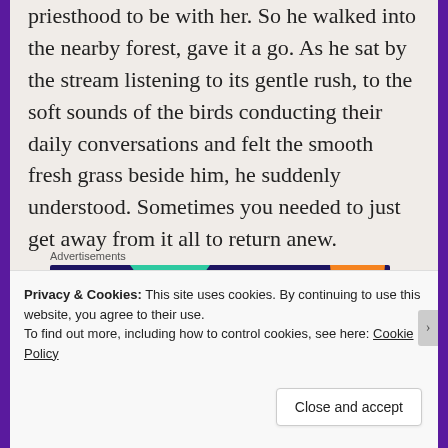priesthood to be with her. So he walked into the nearby forest, gave it a go. As he sat by the stream listening to its gentle rush, to the soft sounds of the birds conducting their daily conversations and felt the smooth fresh grass beside him, he suddenly understood. Sometimes you needed to just get away from it all to return anew.
Advertisements
[Figure (other): WooCommerce advertisement banner: dark purple/navy background with colorful geometric shapes (teal triangle, orange circle, blue circle, purple shape). Logo 'WOO COMMERCE' on left, tagline 'Turn your hobby into a business in 8 steps' on right.]
Privacy & Cookies: This site uses cookies. By continuing to use this website, you agree to their use.
To find out more, including how to control cookies, see here: Cookie Policy
Close and accept